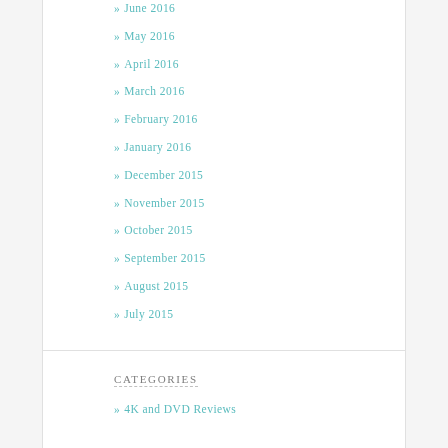» June 2016
» May 2016
» April 2016
» March 2016
» February 2016
» January 2016
» December 2015
» November 2015
» October 2015
» September 2015
» August 2015
» July 2015
CATEGORIES
» 4K and DVD Reviews